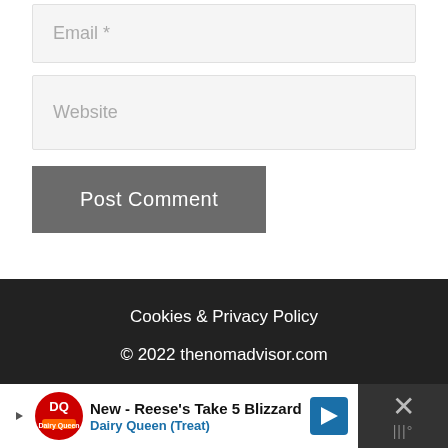Email *
Website
Post Comment
Cookies & Privacy Policy
© 2022 thenomadvisor.com
Exclusive Member of Mediavine Travel
[Figure (screenshot): Advertisement banner: New - Reese's Take 5 Blizzard, Dairy Queen (Treat) with DQ logo, arrow icon, and close button]